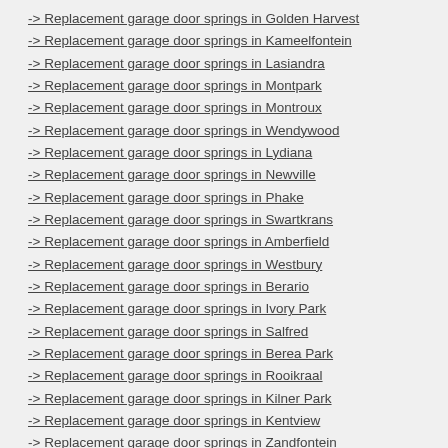-> Replacement garage door springs in Golden Harvest
-> Replacement garage door springs in Kameelfontein
-> Replacement garage door springs in Lasiandra
-> Replacement garage door springs in Montpark
-> Replacement garage door springs in Montroux
-> Replacement garage door springs in Wendywood
-> Replacement garage door springs in Lydiana
-> Replacement garage door springs in Newville
-> Replacement garage door springs in Phake
-> Replacement garage door springs in Swartkrans
-> Replacement garage door springs in Amberfield
-> Replacement garage door springs in Westbury
-> Replacement garage door springs in Berario
-> Replacement garage door springs in Ivory Park
-> Replacement garage door springs in Salfred
-> Replacement garage door springs in Berea Park
-> Replacement garage door springs in Rooikraal
-> Replacement garage door springs in Kilner Park
-> Replacement garage door springs in Kentview
-> Replacement garage door springs in Zandfontein
-> Replacement garage door springs in Waterval
-> Replacement garage door springs in Presidents Dam
-> Replacement garage door springs in Newmark Estate
-> Replacement garage door springs in Sunrella